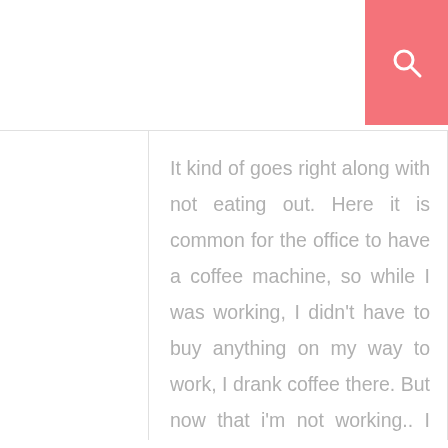It kind of goes right along with not eating out. Here it is common for the office to have a coffee machine, so while I was working, I didn't have to buy anything on my way to work, I drank coffee there. But now that i'm not working.. I usually buy a pack instant coffees and prepare them at home, all you do is . you boil hot water, pour it in a mug with the coffee mix and bam, you have coffee.